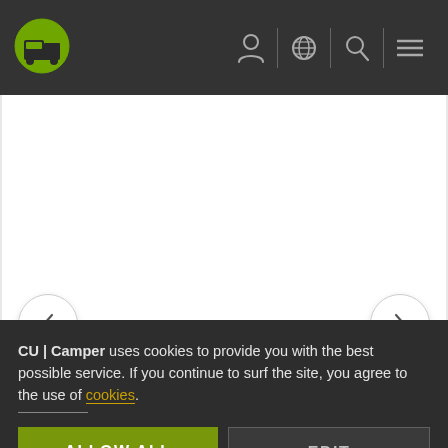CU|Camper navigation bar with logo, user icon, globe icon, search icon, menu icon
[Figure (screenshot): Image carousel area — white background with left chevron button and right chevron button for navigation]
Britz Südafrika
On Request
CU | Camper uses cookies to provide you with the best possible service. If you continue to surf the site, you agree to the use of cookies.
ALLOW ALL
EDIT